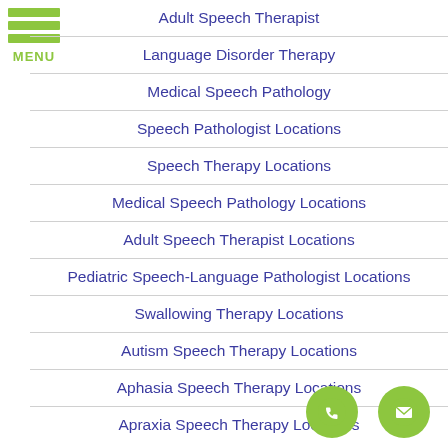[Figure (other): Hamburger menu icon with three green bars and MENU label]
Adult Speech Therapist
Language Disorder Therapy
Medical Speech Pathology
Speech Pathologist Locations
Speech Therapy Locations
Medical Speech Pathology Locations
Adult Speech Therapist Locations
Pediatric Speech-Language Pathologist Locations
Swallowing Therapy Locations
Autism Speech Therapy Locations
Aphasia Speech Therapy Locations
Apraxia Speech Therapy Locations
[Figure (other): Green circular phone button and green circular mail/envelope button at bottom right]